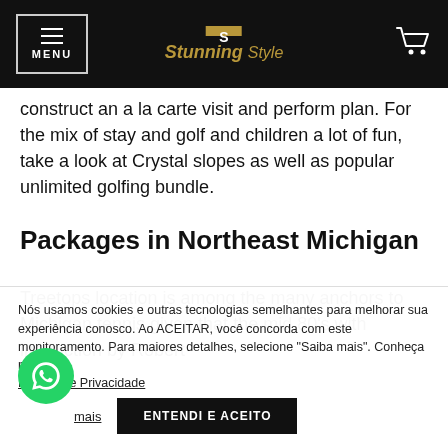MENU | Stunning Style
construct an a la carte visit and perform plan. For the mix of stay and golf and children a lot of fun, take a look at Crystal slopes as well as popular unlimited golfing bundle.
Packages in Northeast Michigan
Treetops location is among the many anchors to Michigan tennis given that the mid 80's with instruction by Robert
Nós usamos cookies e outras tecnologias semelhantes para melhorar sua experiência conosco. Ao ACEITAR, você concorda com este monitoramento. Para maiores detalhes, selecione "Saiba mais". Conheça nossa Política de Privacidade